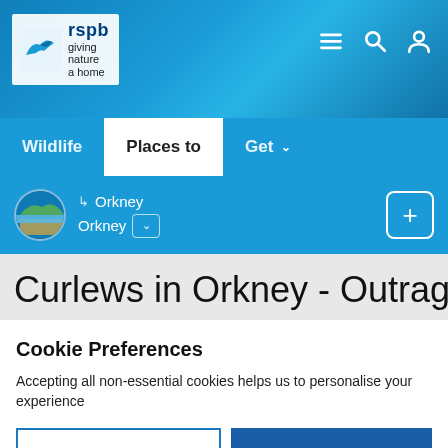[Figure (screenshot): RSPB website header with logo showing bird silhouette and 'rspb giving nature a home' text, navigation icons (hamburger menu, search, user) on teal/blue textured background]
Wildlife | Places to | Get
Orkney > Orkney
Curlews in Orkney - Outrageous Goals, Extravagant
Cookie Preferences
Accepting all non-essential cookies helps us to personalise your experience
EDIT SETTINGS | ACCEPT ALL